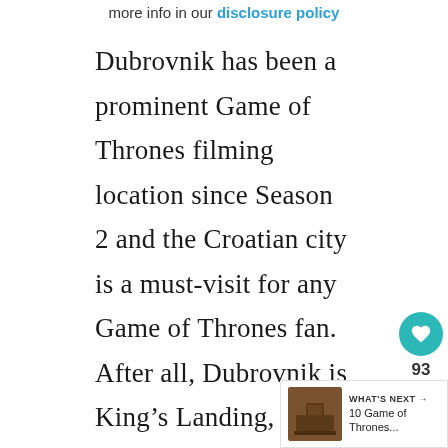more info in our disclosure policy
Dubrovnik has been a prominent Game of Thrones filming location since Season 2 and the Croatian city is a must-visit for any Game of Thrones fan. After all, Dubrovnik is King’s Landing, the capital of the Seven Kingdoms!
The Old Town is full to the brim of filming spots and there are several